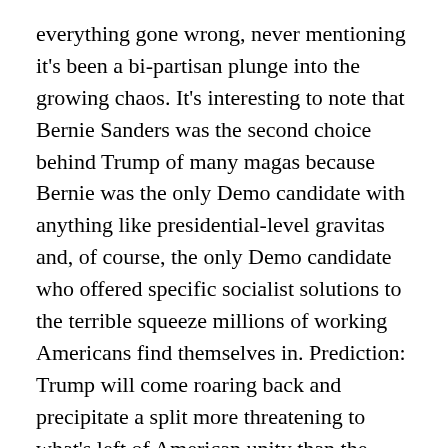everything gone wrong, never mentioning it's been a bi-partisan plunge into the growing chaos. It's interesting to note that Bernie Sanders was the second choice behind Trump of many magas because Bernie was the only Demo candidate with anything like presidential-level gravitas and, of course, the only Demo candidate who offered specific socialist solutions to the terrible squeeze millions of working Americans find themselves in. Prediction: Trump will come roaring back and precipitate a split more threatening to what's left of American unity than the Civil War. So, imo, this is where we're at, a Biden-Trump quality leadership in a global context of accumulating environmental catastrophe.
ON LINE COMMENTS OF THE WEEK
[1] I want to know why boys in general are not having it crammed down their throats from even a young age